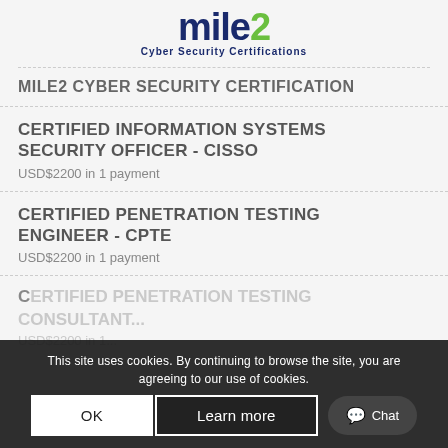[Figure (logo): mile2 Cyber Security Certifications logo with stylized text and green leaf element]
MILE2 CYBER SECURITY CERTIFICATION
CERTIFIED INFORMATION SYSTEMS SECURITY OFFICER - CISSO
USD$2200 in 1 payment
CERTIFIED PENETRATION TESTING ENGINEER - CPTE
USD$2200 in 1 payment
CERTIFIED PENETRATION TESTING CONSULTANT (partially visible)
USD$2200 in 1 payment
This site uses cookies. By continuing to browse the site, you are agreeing to our use of cookies.